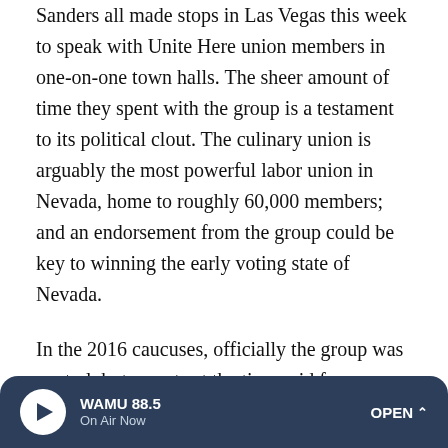Sanders all made stops in Las Vegas this week to speak with Unite Here union members in one-on-one town halls. The sheer amount of time they spent with the group is a testament to its political clout. The culinary union is arguably the most powerful labor union in Nevada, home to roughly 60,000 members; and an endorsement from the group could be key to winning the early voting state of Nevada.
In the 2016 caucuses, officially the group was neutral, but reports at the time said former Senate Majority Leader Harry Reid pressed the culinary union to turn out its members. And that led Hillary Clinton to pull off a narrow win in Nevada.
Neither the Democratic National Committee nor Loyola Marymount University had an immediate response to
[Figure (other): WAMU 88.5 radio player bar with play button, station name 'WAMU 88.5', 'On Air Now' label, and 'OPEN' button with chevron]